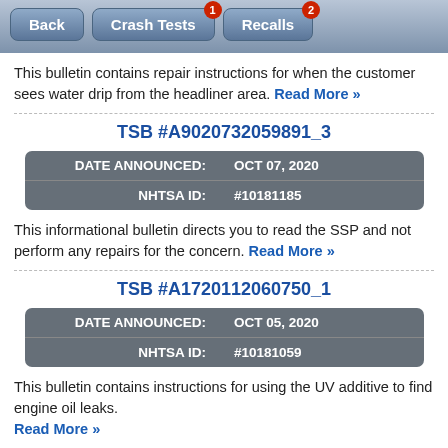Back | Crash Tests (1) | Recalls (2)
This bulletin contains repair instructions for when the customer sees water drip from the headliner area. Read More »
TSB #A9020732059891_3
| Field | Value |
| --- | --- |
| DATE ANNOUNCED: | OCT 07, 2020 |
| NHTSA ID: | #10181185 |
This informational bulletin directs you to read the SSP and not perform any repairs for the concern. Read More »
TSB #A1720112060750_1
| Field | Value |
| --- | --- |
| DATE ANNOUNCED: | OCT 05, 2020 |
| NHTSA ID: | #10181059 |
This bulletin contains instructions for using the UV additive to find engine oil leaks. Read More »